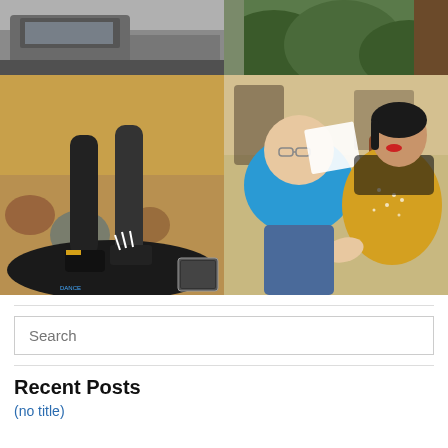[Figure (photo): Top-left photo: partial view of a car or vehicle in a parking area]
[Figure (photo): Top-right photo: green hedge or bushes with a tree trunk]
[Figure (photo): Bottom-left photo: Person in black leggings and Irish dance shoes on a black dance mat with a small phone screen inset]
[Figure (photo): Bottom-right photo: Two women sitting; one in blue shirt, one in gold sequin outfit with dark hair]
Search
Recent Posts
(no title)